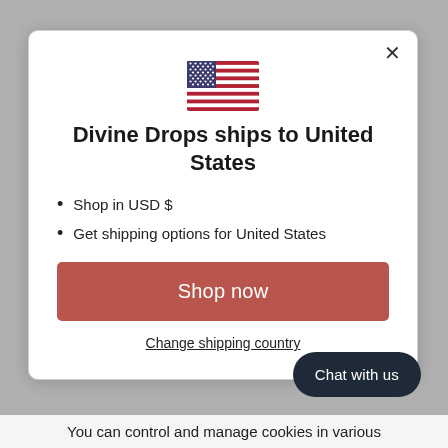[Figure (illustration): US flag emoji/icon centered at top of modal dialog]
Divine Drops ships to United States
Shop in USD $
Get shipping options for United States
Shop now
Change shipping country
Chat with us
You can control and manage cookies in various